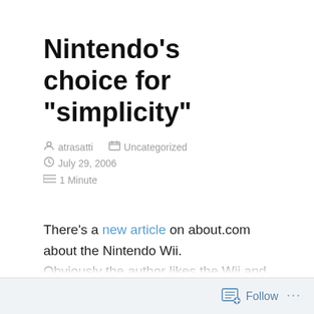Nintendo’s choice for “simplicity”
atrasatti   Uncategorized   July 29, 2006   1 Minute
There’s a new article on about.com about the Nintendo Wii. Obviously the author likes the Wii and thinks it will be a success. I am impressed and not really sure that the Wii will take the lead as numbers of consoles (and games)
Follow ...